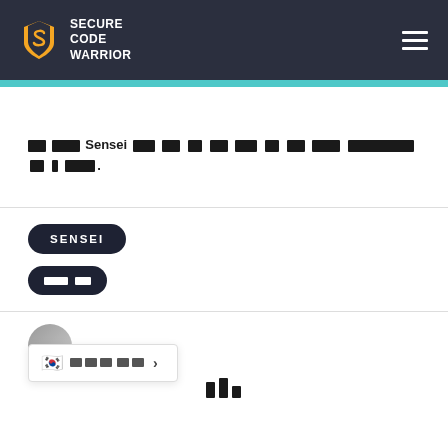Secure Code Warrior
██ ████ Sensei ████ ███ ██ ███ ███ ██ ███ ████ ████████ ██ █ ████.
SENSEI
███ ██
[Figure (other): User avatar with Korean flag language selector popup showing Korean text and arrow]